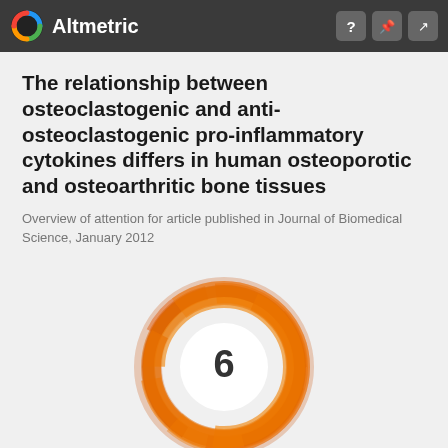Altmetric
The relationship between osteoclastogenic and anti-osteoclastogenic pro-inflammatory cytokines differs in human osteoporotic and osteoarthritic bone tissues
Overview of attention for article published in Journal of Biomedical Science, January 2012
[Figure (other): Altmetric donut badge showing score of 6, rendered as an orange swirling ring with white center containing the number 6]